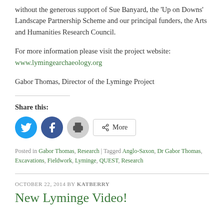without the generous support of Sue Banyard, the 'Up on Downs' Landscape Partnership Scheme and our principal funders, the Arts and Humanities Research Council.
For more information please visit the project website: www.lymingearchaeology.org
Gabor Thomas, Director of the Lyminge Project
Share this:
[Figure (other): Social share buttons: Twitter (blue circle), Facebook (blue circle), Print (grey circle), More (rectangle with share icon)]
Posted in Gabor Thomas, Research | Tagged Anglo-Saxon, Dr Gabor Thomas, Excavations, Fieldwork, Lyminge, QUEST, Research
OCTOBER 22, 2014 BY KATBERRY
New Lyminge Video!